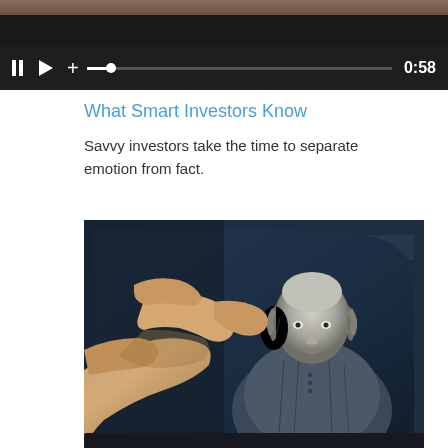[Figure (screenshot): Video player controls bar showing pause button, play button, plus icon, progress bar at near start, and timestamp 0:58 on dark background]
What Smart Investors Know
Savvy investors take the time to separate emotion from fact.
[Figure (photo): Person's fingers touching a tablet screen displaying a portrait of Benjamin Franklin (as seen on US currency). The tablet has a dark navy/blue screen background. The hand comes from the left side of the frame.]